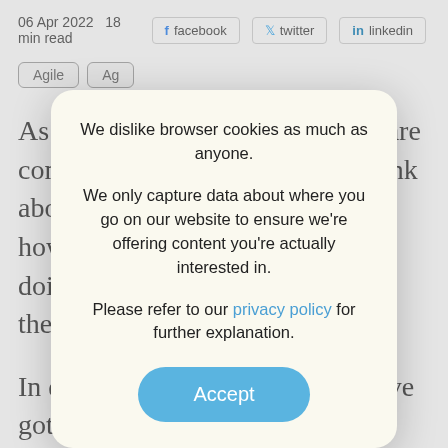06 Apr 2022  18 min read
Agile  Ag...
As a long... software community... think about how we t... re doing them no...
We dislike browser cookies as much as anyone.

We only capture data about where you go on our website to ensure we’re offering content you’re actually interested in.

Please refer to our privacy policy for further explanation.
In doing... we’ve got a lot of m... h about story points in particular, and so I invite you to join me in exploring the truth about story points (as I see it).